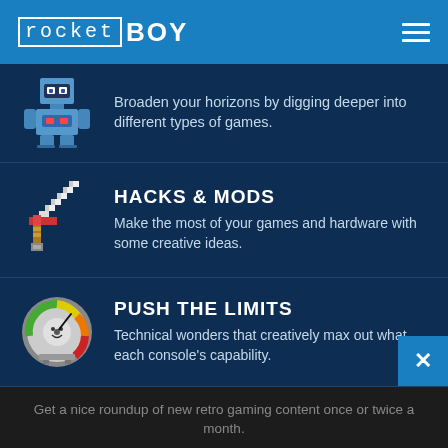rocket BOY
Broaden your horizons by digging deeper into different types of games.
HACKS & MODS
Make the most of your games and hardware with some creative ideas.
PUSH THE LIMITS
Technical wonders that creatively max out what each console's capability.
Get a nice roundup of new retro gaming content once or twice a month.